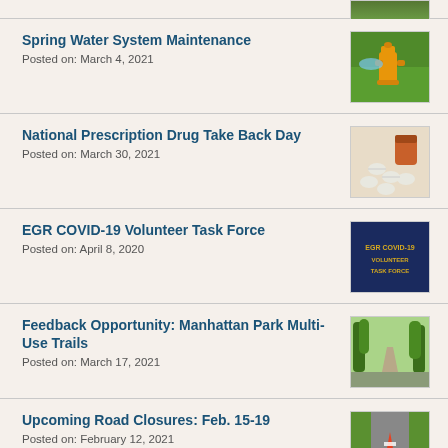[Figure (photo): Partial image at top of page, cut off]
Spring Water System Maintenance
Posted on: March 4, 2021
[Figure (photo): Fire hydrant spraying water on green grass]
National Prescription Drug Take Back Day
Posted on: March 30, 2021
[Figure (photo): Prescription pill bottle tipped over with pills spilled out]
EGR COVID-19 Volunteer Task Force
Posted on: April 8, 2020
[Figure (photo): Dark blue banner reading EGR COVID-19 VOLUNTEER TASK FORCE in gold text]
Feedback Opportunity: Manhattan Park Multi-Use Trails
Posted on: March 17, 2021
[Figure (photo): Tree-lined park trail path]
Upcoming Road Closures: Feb. 15-19
Posted on: February 12, 2021
[Figure (photo): Orange and white traffic cone on a road]